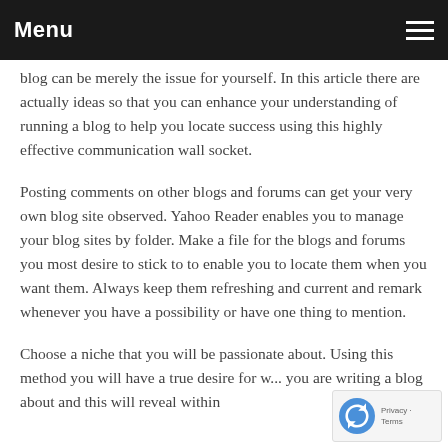Menu
blog can be merely the issue for yourself. In this article there are actually ideas so that you can enhance your understanding of running a blog to help you locate success using this highly effective communication wall socket.
Posting comments on other blogs and forums can get your very own blog site observed. Yahoo Reader enables you to manage your blog sites by folder. Make a file for the blogs and forums you most desire to stick to to enable you to locate them when you want them. Always keep them refreshing and current and remark whenever you have a possibility or have one thing to mention.
Choose a niche that you will be passionate about. Using this method you will have a true desire for w... you are writing a blog about and this will reveal within